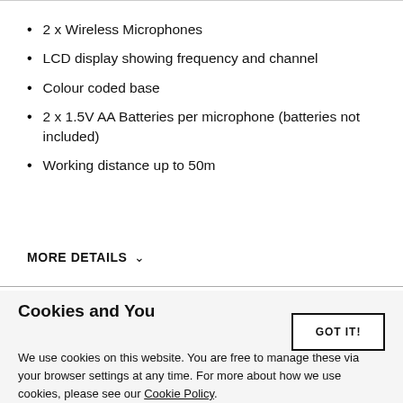2 x Wireless Microphones
LCD display showing frequency and channel
Colour coded base
2 x 1.5V AA Batteries per microphone (batteries not included)
Working distance up to 50m
MORE DETAILS
Cookies and You
We use cookies on this website. You are free to manage these via your browser settings at any time. For more about how we use cookies, please see our Cookie Policy.